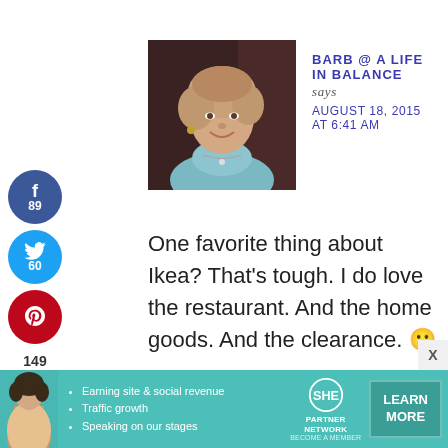[Figure (photo): Profile photo of a smiling woman with short curly hair, wearing a light blue top and necklace, against a dark background]
BARB @ A LIFE IN BALANCE
says
AUGUST 18, 2015 AT 6:41 AM
One favorite thing about Ikea? That's tough. I do love the restaurant. And the home goods. And the clearance. 🙂
Reply
[Figure (infographic): SHE Partner Network advertisement banner with green background, showing a woman, bullet points about Earning site & social revenue, Traffic growth, Speaking on our stages, and a LEARN MORE button]